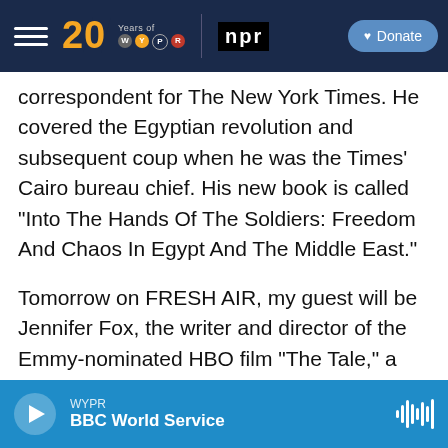[Figure (screenshot): WYPR 20 Years / NPR logo navigation bar with Donate button on dark navy background]
correspondent for The New York Times. He covered the Egyptian revolution and subsequent coup when he was the Times' Cairo bureau chief. His new book is called "Into The Hands Of The Soldiers: Freedom And Chaos In Egypt And The Middle East."
Tomorrow on FRESH AIR, my guest will be Jennifer Fox, the writer and director of the Emmy-nominated HBO film "The Tale," a fictional memoir based on her experience being sexually abused at age 13 by her running coach. It took her years to realize that the story she told herself then, that this was a
WYPR
BBC World Service